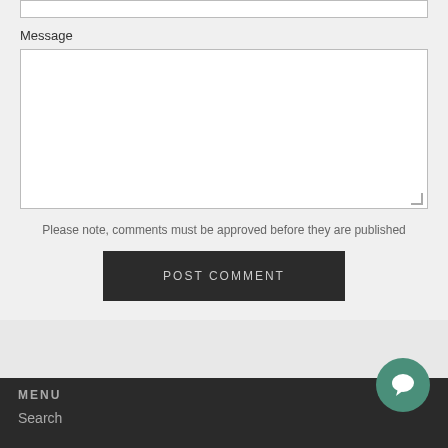Message
Please note, comments must be approved before they are published
POST COMMENT
MENU
Search